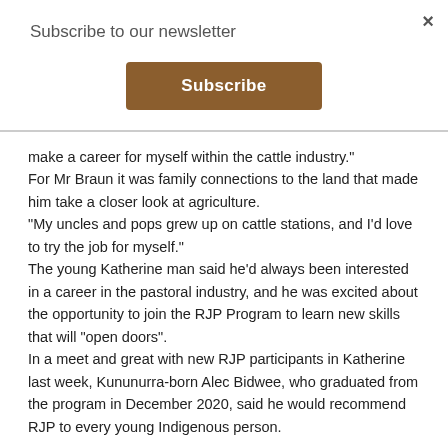Subscribe to our newsletter
Subscribe
make a career for myself within the cattle industry." For Mr Braun it was family connections to the land that made him take a closer look at agriculture. "My uncles and pops grew up on cattle stations, and I'd love to try the job for myself."
The young Katherine man said he'd always been interested in a career in the pastoral industry, and he was excited about the opportunity to join the RJP Program to learn new skills that will "open doors".
In a meet and great with new RJP participants in Katherine last week, Kununurra-born Alec Bidwee, who graduated from the program in December 2020, said he would recommend RJP to every young Indigenous person.